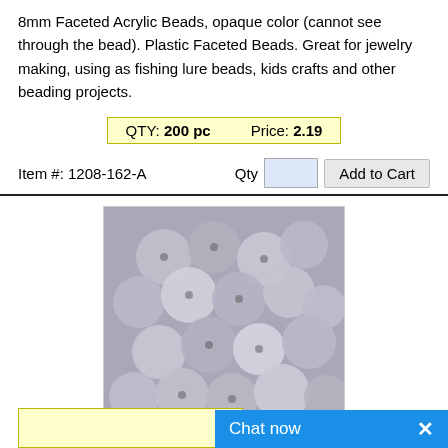8mm Faceted Acrylic Beads, opaque color (cannot see through the bead). Plastic Faceted Beads. Great for jewelry making, using as fishing lure beads, kids crafts and other beading projects.
QTY: 200 pc     Price: 2.19
Item #: 1208-162-A
[Figure (photo): Gray faceted acrylic beads photographed in a pile, showing multiple spherical faceted beads in gray/silver opaque color]
(Click to enlarge)
Faceted Beads
8 mm -  GRAY OP - 1000 pc
8mm Faceted Acrylic Beads, opaque color (cannot see through the bead). Plastic Faceted Beads. Great for jewelry making, using as fishing lure beads, kids crafts and other beading projects. Plastic Beads Bulk